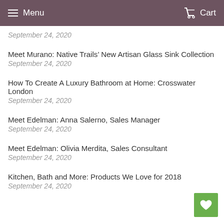Menu  Cart
September 24, 2020
Meet Murano: Native Trails' New Artisan Glass Sink Collection
September 24, 2020
How To Create A Luxury Bathroom at Home: Crosswater London
September 24, 2020
Meet Edelman: Anna Salerno, Sales Manager
September 24, 2020
Meet Edelman: Olivia Merdita, Sales Consultant
September 24, 2020
Kitchen, Bath and More: Products We Love for 2018
September 24, 2020